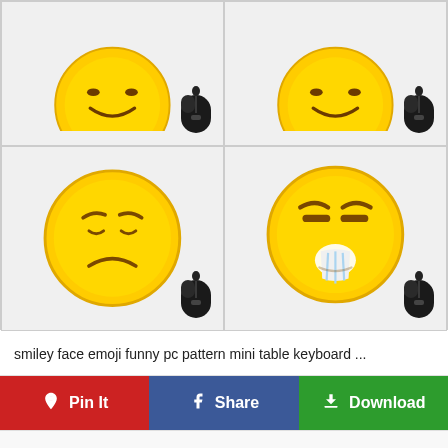[Figure (photo): 2x2 grid of emoji mouse pad product images. Top row: two partially visible emoji mouse pad images (happy/smiley face emojis) each with a black computer mouse placed on them. Bottom row: left cell shows a sad face emoji mouse pad with a black mouse, right cell shows an angry/crying face emoji mouse pad with a black mouse.]
smiley face emoji funny pc pattern mini table keyboard ...
Pin It  Share  Download